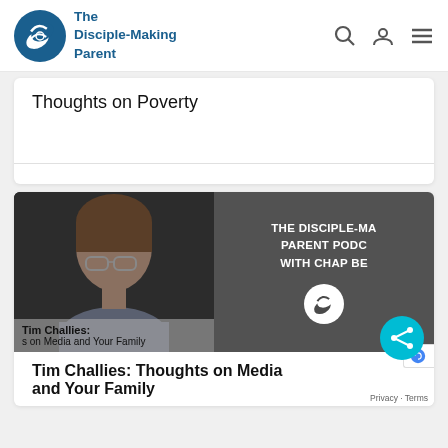The Disciple-Making Parent
Thoughts on Poverty
[Figure (photo): Podcast card image showing Tim Challies photo on left with dark panel on right reading THE DISCIPLE-MAKING PARENT PODCAST WITH CHAP BE[CKER], with podcast logo and overlay text: Tim Challies: [Thought]s on Media and Your Family]
Tim Challies: Thoughts on Media and Your Family